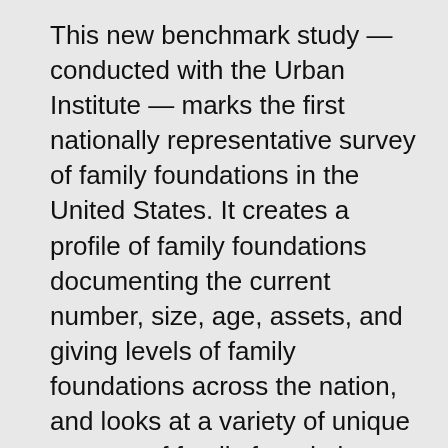This new benchmark study — conducted with the Urban Institute — marks the first nationally representative survey of family foundations in the United States. It creates a profile of family foundations documenting the current number, size, age, assets, and giving levels of family foundations across the nation, and looks at a variety of unique aspects of family foundation governance and management practices, including the engagement of the next generation and the participation of the founding donor.